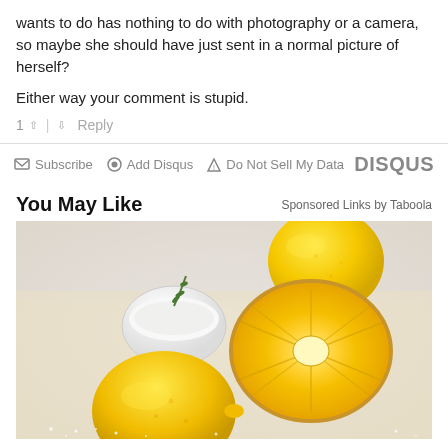wants to do has nothing to do with photography or a camera, so maybe she should have just sent in a normal picture of herself?
Either way your comment is stupid.
1 ∧ | ∨ Reply
✉ Subscribe  ⊙ Add Disqus  ▲ Do Not Sell My Data   DISQUS
You May Like
Sponsored Links by Taboola
[Figure (photo): Photo of lemons and salt on a wooden surface. Whole lemon and sliced lemons showing cross-section, with a small white bowl containing white powder and a sprig of rosemary. Salt crystals scattered on the surface.]